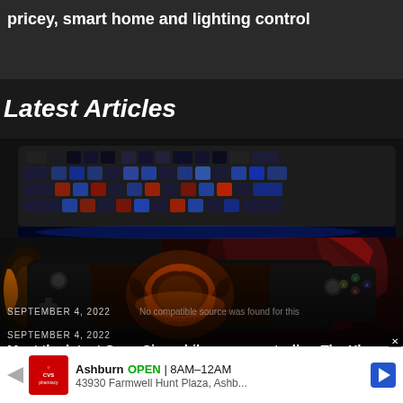pricey, smart home and lighting control
Latest Articles
[Figure (photo): Gaming setup photo showing a mechanical keyboard with blue/red RGB lighting, a handheld gaming device displaying Diablo game art, headphones, and a red gaming mouse pad on a dark desk]
SEPTEMBER 4, 2022
Meet the latest GameSir mobile game controller: The Xbox-licensed X2 Pro
Ashburn OPEN 8AM–12AM 43930 Farmwell Hunt Plaza, Ashb...